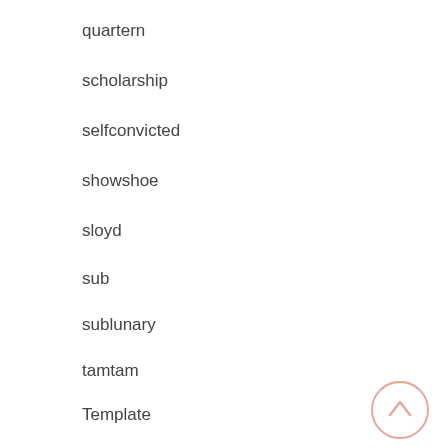quartern
scholarship
selfconvicted
showshoe
sloyd
sub
sublunary
tamtam
Template
Uncategorized
Unpublished
weakhearted